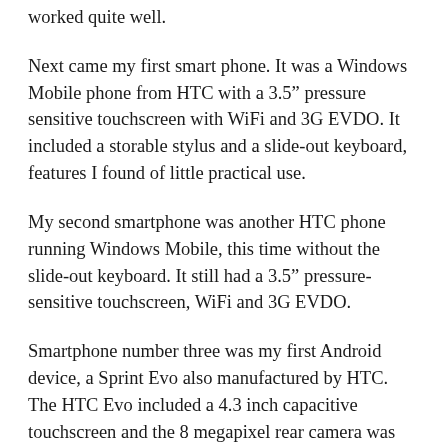worked quite well.
Next came my first smart phone. It was a Windows Mobile phone from HTC with a 3.5" pressure sensitive touchscreen with WiFi and 3G EVDO. It included a storable stylus and a slide-out keyboard, features I found of little practical use.
My second smartphone was another HTC phone running Windows Mobile, this time without the slide-out keyboard. It still had a 3.5" pressure-sensitive touchscreen, WiFi and 3G EVDO.
Smartphone number three was my first Android device, a Sprint Evo also manufactured by HTC. The HTC Evo included a 4.3 inch capacitive touchscreen and the 8 megapixel rear camera was able to record 720p 30fps video, though the video sound quality suffered compared with newer devices. The HTC Evo’s biggest problem was that it had awful battery life.